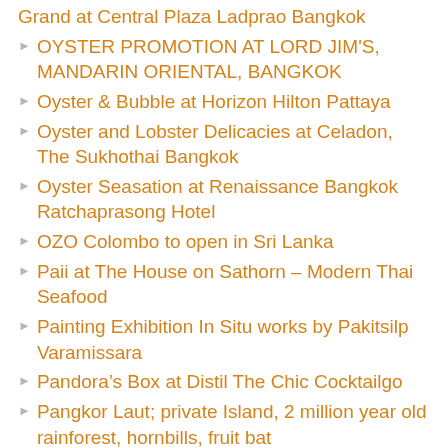Grand at Central Plaza Ladprao Bangkok
OYSTER PROMOTION AT LORD JIM'S, MANDARIN ORIENTAL, BANGKOK
Oyster & Bubble at Horizon Hilton Pattaya
Oyster and Lobster Delicacies at Celadon, The Sukhothai Bangkok
Oyster Seasation at Renaissance Bangkok Ratchaprasong Hotel
OZO Colombo to open in Sri Lanka
Paii at The House on Sathorn – Modern Thai Seafood
Painting Exhibition In Situ works by Pakitsilp Varamissara
Pandora's Box at Distil The Chic Cocktailgo
Pangkor Laut; private Island, 2 million year old rainforest, hornbills, fruit bat
Panorama
Paralle, lPainting exhibition by Elizabeth Romhild and